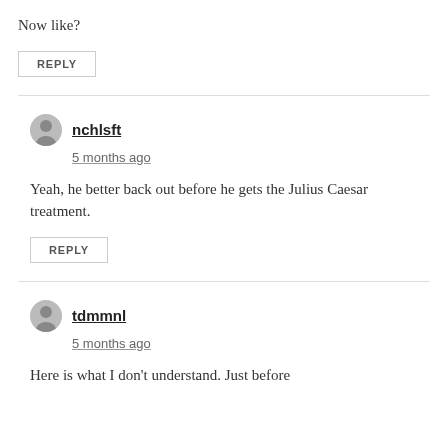Now like?
REPLY
nchlsft
5 months ago
Yeah, he better back out before he gets the Julius Caesar treatment.
REPLY
tdmmnl
5 months ago
Here is what I don't understand. Just before the immigrants the US...